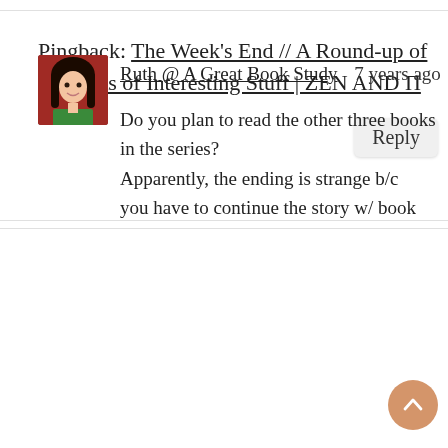Pingback: The Week's End // A Round-up of All Sorts of Interesting Stuff | ZEN AND π
Ruth @ A Great Book Study   7 years ago
Do you plan to read the other three books in the series? Apparently, the ending is strange b/c you have to continue the story w/ book